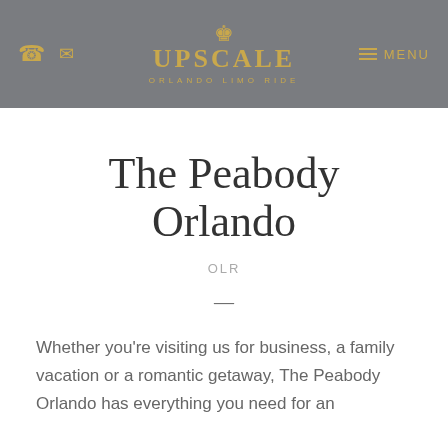Upscale Orlando Limo Ride — MENU
The Peabody Orlando
OLR
—
Whether you're visiting us for business, a family vacation or a romantic getaway, The Peabody Orlando has everything you need for an